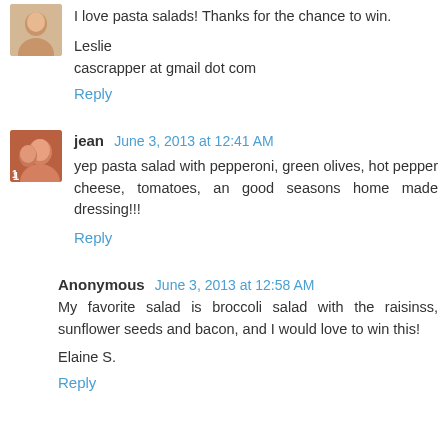I love pasta salads! Thanks for the chance to win.
Leslie
cascrapper at gmail dot com
Reply
jean  June 3, 2013 at 12:41 AM
yep pasta salad with pepperoni, green olives, hot pepper cheese, tomatoes, an good seasons home made dressing!!!
Reply
Anonymous  June 3, 2013 at 12:58 AM
My favorite salad is broccoli salad with the raisinss, sunflower seeds and bacon, and I would love to win this!
Elaine S.
Reply